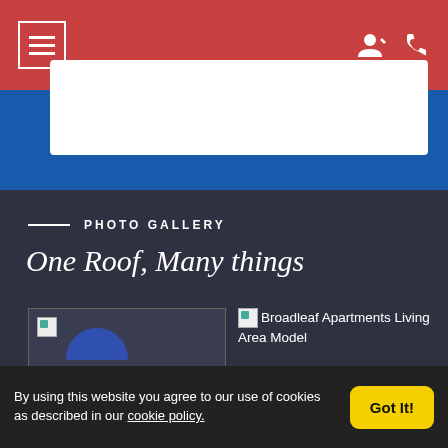Navigation header with menu icon and user/phone icons
PHOTO GALLERY
One Roof, Many things
[Figure (photo): Apartment photo thumbnail (broken image placeholder) on the left]
[Figure (photo): Broadleaf Apartments Living Area Model - broken image placeholder with alt text visible]
By using this website you agree to our use of cookies as described in our cookie policy.